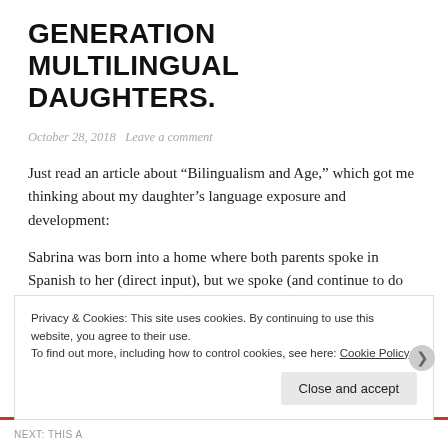GENERATION MULTILINGUAL DAUGHTERS.
October 28, 2018   Leave a comment
Just read an article about “Bilingualism and Age,” which got me thinking about my daughter’s language exposure and development:
Sabrina was born into a home where both parents spoke in Spanish to her (direct input), but we spoke (and continue to do so) in mostly English to each other with some Spanish. Her daycare was a Spanish immersion one (so more direct
Privacy & Cookies: This site uses cookies. By continuing to use this website, you agree to their use.
To find out more, including how to control cookies, see here: Cookie Policy